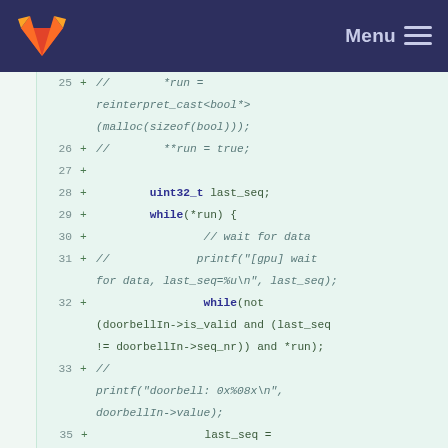GitLab navigation bar with logo and Menu
[Figure (screenshot): Code diff view showing lines 25-36 of a C++ source file with additions marked with '+'. Lines include commented-out pointer allocation, uint32_t declaration, while loops, and doorbell sequence code.]
25 + //        *run =
           reinterpret_cast<bool*>
           (malloc(sizeof(bool)));
26 + //        **run = true;
27 +
28 +        uint32_t last_seq;
29 +        while(*run) {
30 +                // wait for data
31 + //                printf("[gpu] wait for data, last_seq=%u\n", last_seq);
32 +                while(not (doorbellIn->is_valid and (last_seq != doorbellIn->seq_nr)) and *run);
33 + //
           printf("doorbell: 0x%08x\n", doorbellIn->value);
34 +
35 +                last_seq = doorbellIn->seq_nr;
36 +